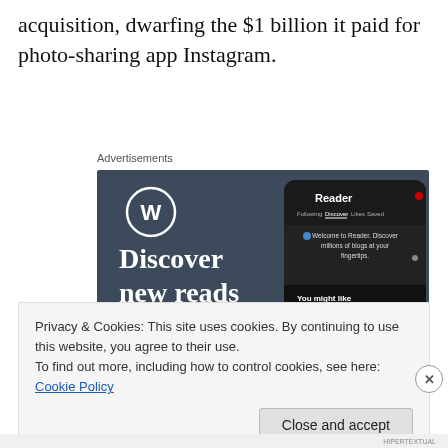acquisition, dwarfing the $1 billion it paid for photo-sharing app Instagram.
Advertisements
[Figure (screenshot): WordPress advertisement showing 'Discover new reads on the go.' with WordPress logo and a phone mockup showing the Reader interface with blogs.]
Privacy & Cookies: This site uses cookies. By continuing to use this website, you agree to their use.
To find out more, including how to control cookies, see here: Cookie Policy
HIPERTEXTUAL